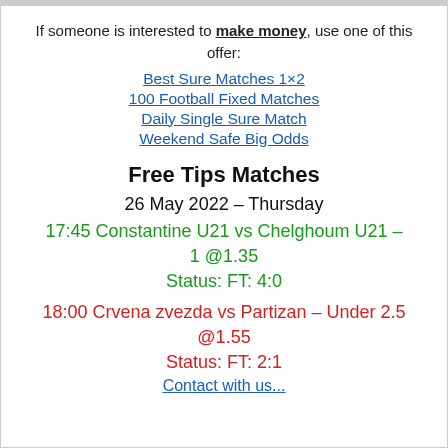If someone is interested to make money, use one of this offer:
Best Sure Matches 1×2
100 Football Fixed Matches
Daily Single Sure Match
Weekend Safe Big Odds
Free Tips Matches
26 May 2022 – Thursday
17:45  Constantine U21  vs  Chelghoum U21  –  1  @1.35
Status:  FT: 4:0
18:00  Crvena zvezda  vs  Partizan  –  Under 2.5  @1.55
Status:  FT: 2:1
Contact with us...